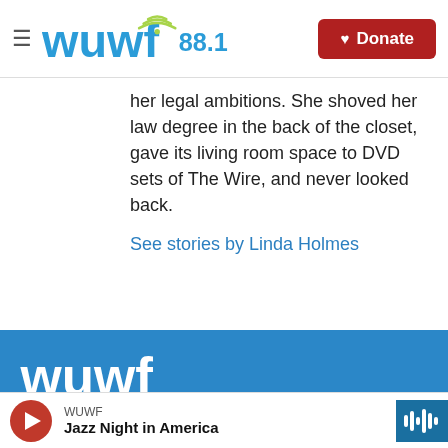WUWF 88.1 — Donate
her legal ambitions. She shoved her law degree in the back of the closet, gave its living room space to DVD sets of The Wire, and never looked back.
See stories by Linda Holmes
[Figure (logo): WUWF logo in white on blue footer background]
© 2022 | WUWF Public Media
WUWF — Jazz Night in America